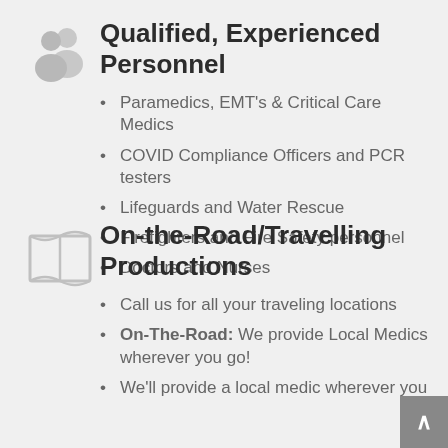[Figure (illustration): Gray icon of two people/user group silhouettes]
Qualified, Experienced Personnel
Paramedics, EMT's & Critical Care Medics
COVID Compliance Officers and PCR testers
Lifeguards and Water Rescue
Firefighters and Fire Safety personnel
Doctors and Nurses
[Figure (illustration): Gray icon of an open map/book]
On-the-Road/Travelling Productions
Call us for all your traveling locations
On-The-Road: We provide Local Medics wherever you go!
We'll provide a local medic wherever you